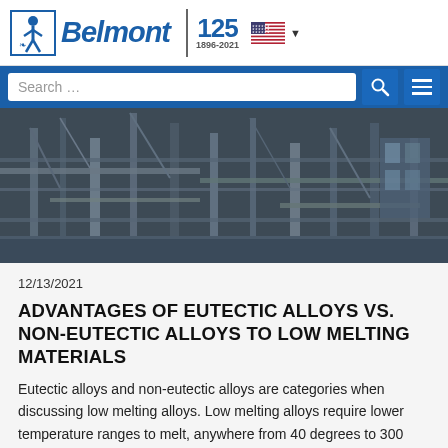[Figure (logo): Belmont company logo with 125th anniversary badge (1896-2021), American flag, and search/menu bar]
[Figure (photo): Industrial facility with steel structures, scaffolding, pipes and machinery in an outdoor manufacturing or refinery setting]
12/13/2021
ADVANTAGES OF EUTECTIC ALLOYS VS. NON-EUTECTIC ALLOYS TO LOW MELTING MATERIALS
Eutectic alloys and non-eutectic alloys are categories when discussing low melting alloys. Low melting alloys require lower temperature ranges to melt, anywhere from 40 degrees to 300 degrees Fahrenheit. This property allows for